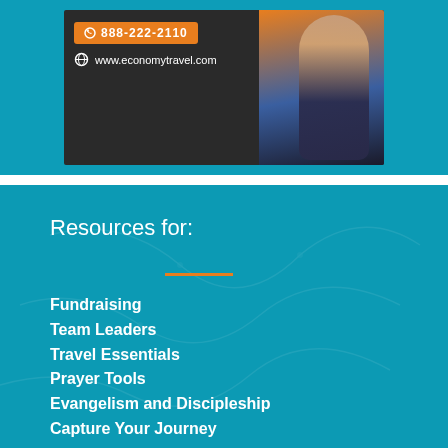[Figure (photo): Advertisement banner for economy travel showing phone number 888-222-2110, website www.economytravel.com, and a woman holding travel documents against an orange and blue background]
Resources for:
Fundraising
Team Leaders
Travel Essentials
Prayer Tools
Evangelism and Discipleship
Capture Your Journey